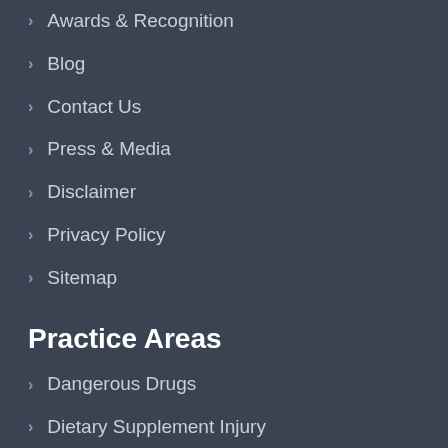Awards & Recognition
Blog
Contact Us
Press & Media
Disclaimer
Privacy Policy
Sitemap
Practice Areas
Dangerous Drugs
Dietary Supplement Injury
Food Poisoning
Medical Device
Medical Malpractice